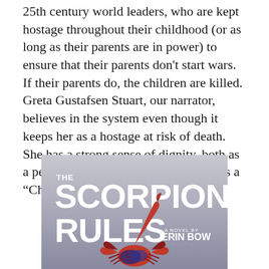25th century world leaders, who are kept hostage throughout their childhood (or as long as their parents are in power) to ensure that their parents don't start wars. If their parents do, the children are killed. Greta Gustafsen Stuart, our narrator, believes in the system even though it keeps her as a hostage at risk of death. She has a strong sense of dignity, both as a person and in terms of her position as a "Child of Peace".
[Figure (illustration): Book cover of 'The Scorpion Rules' by Erin Bow. Grey background with large bold white text reading 'THE SCORPION RULES' and 'A NOVEL BY ERIN BOW'. A red and dark blue stylized scorpion illustration in the center bottom.]